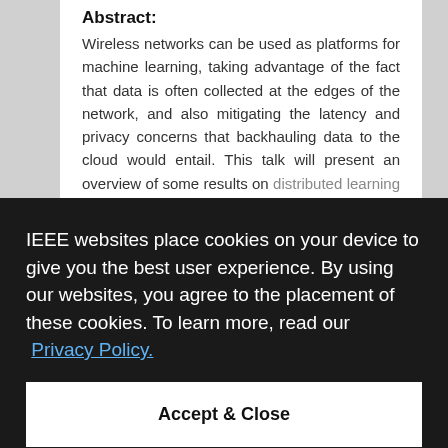Abstract:
Wireless networks can be used as platforms for machine learning, taking advantage of the fact that data is often collected at the edges of the network, and also mitigating the latency and privacy concerns that backhauling data to the cloud would entail. This talk will present an overview of some results on distributed learning at the edges of wireless networks, in which machine learning algorithms to implement joint learning algorithms and for where such algorithms will also be discussed as time permits.
IEEE websites place cookies on your device to give you the best user experience. By using our websites, you agree to the placement of these cookies. To learn more, read our Privacy Policy.
Accept & Close
Bio: